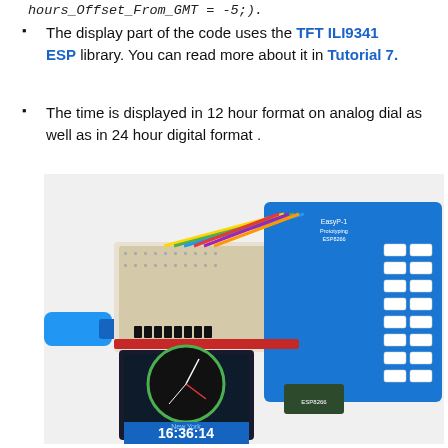hours_Offset_From_GMT = -5;).
The display part of the code uses the TFT ILI9341 ESP library. You can read more about it in Tutorial 7.
The time is displayed in 12 hour format on analog dial as well as in 24 hour digital format .
[Figure (photo): Photo of an ESP8266 development board with a TFT ILI9341 display showing an analog clock face with time 16:36:14 and location New York, connected to a breadboard and prototyping shield via colorful wires, with a blue USB cable plugged in.]